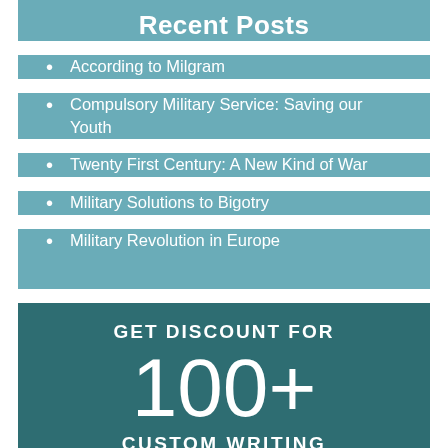Recent Posts
According to Milgram
Compulsory Military Service: Saving our Youth
Twenty First Century: A New Kind of War
Military Solutions to Bigotry
Military Revolution in Europe
GET DISCOUNT FOR
100+
CUSTOM WRITING